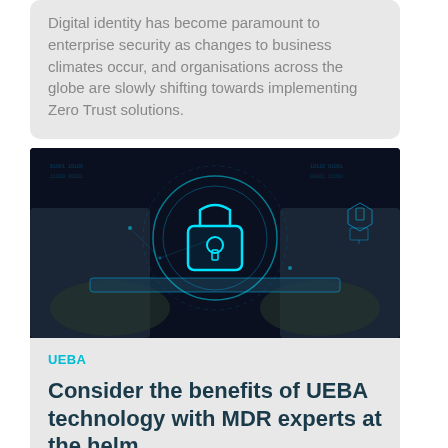Digital identity has become paramount to enterprise security as changes to business climates occur, and organisations across the globe are slowly shifting towards implementing Zero Trust solutions.
[Figure (photo): Person holding a tablet with a glowing blue digital padlock hologram and cybersecurity network interface overlaid on a dark background]
UEBA
Consider the benefits of UEBA technology with MDR experts at the helm